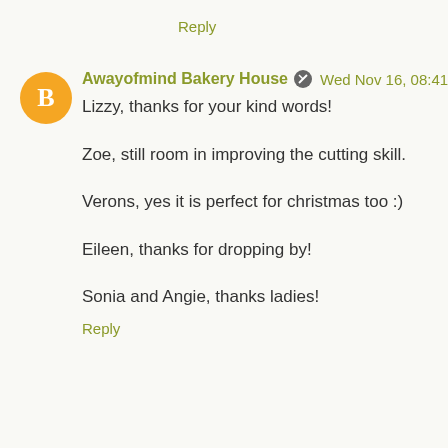Reply
Awayofmind Bakery House  Wed Nov 16, 08:41
Lizzy, thanks for your kind words!

Zoe, still room in improving the cutting skill.

Verons, yes it is perfect for christmas too :)

Eileen, thanks for dropping by!

Sonia and Angie, thanks ladies!
Reply